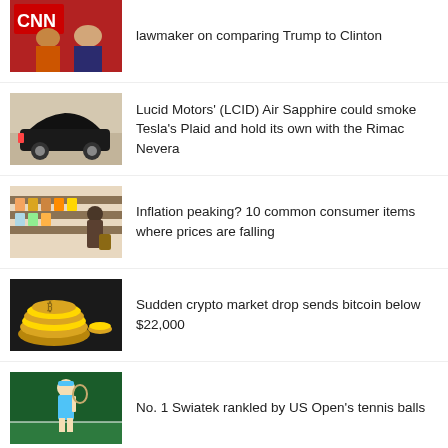lawmaker on comparing Trump to Clinton
Lucid Motors' (LCID) Air Sapphire could smoke Tesla's Plaid and hold its own with the Rimac Nevera
Inflation peaking? 10 common consumer items where prices are falling
Sudden crypto market drop sends bitcoin below $22,000
No. 1 Swiatek rankled by US Open's tennis balls
Who was 'Ringo', the ISIS Beatle? From west